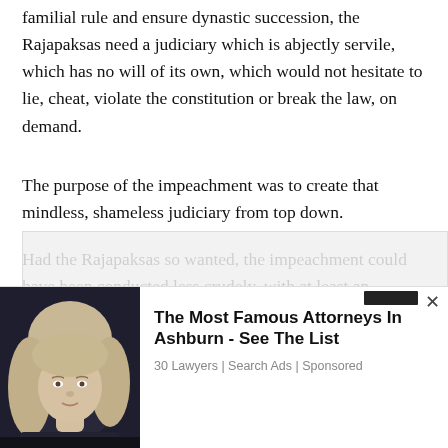familial rule and ensure dynastic succession, the Rajapaksas need a judiciary which is abjectly servile, which has no will of its own, which would not hesitate to lie, cheat, violate the constitution or break the law, on demand.
The purpose of the impeachment was to create that mindless, shameless judiciary from top down.
Had the Rajapaksas so wanted, the impeachment could have been conducted less crudely, with at least an appearance of fair-
[Figure (photo): Advertisement overlay showing a woman with blonde hair against a dark background, with headline 'The Most Famous Attorneys In Ashburn - See The List' from '30 Lawyers | Search Ads | Sponsored']